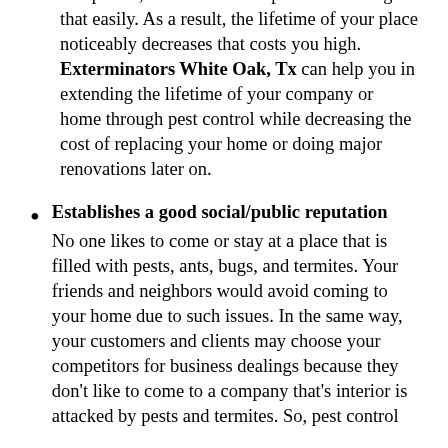companies, the termites and pests can damage that easily. As a result, the lifetime of your place noticeably decreases that costs you high. Exterminators White Oak, Tx can help you in extending the lifetime of your company or home through pest control while decreasing the cost of replacing your home or doing major renovations later on.
Establishes a good social/public reputation
No one likes to come or stay at a place that is filled with pests, ants, bugs, and termites. Your friends and neighbors would avoid coming to your home due to such issues. In the same way, your customers and clients may choose your competitors for business dealings because they don't like to come to a company that's interior is attacked by pests and termites. So, pest control